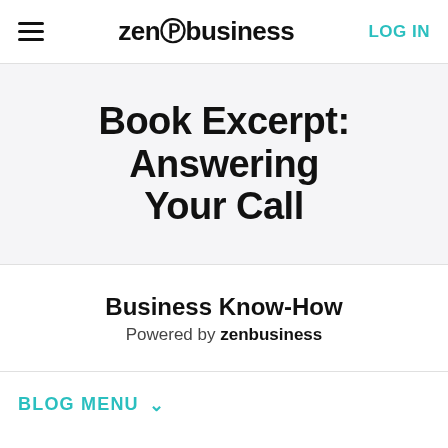zenbusiness | LOG IN
Book Excerpt: Answering Your Call
Business Know-How
Powered by zenbusiness
BLOG MENU